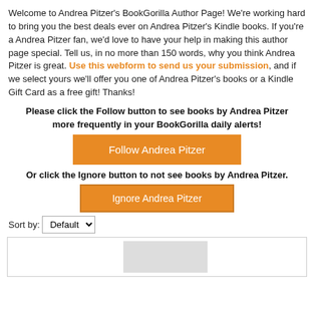Welcome to Andrea Pitzer's BookGorilla Author Page! We're working hard to bring you the best deals ever on Andrea Pitzer's Kindle books. If you're a Andrea Pitzer fan, we'd love to have your help in making this author page special. Tell us, in no more than 150 words, why you think Andrea Pitzer is great. Use this webform to send us your submission, and if we select yours we'll offer you one of Andrea Pitzer's books or a Kindle Gift Card as a free gift! Thanks!
Please click the Follow button to see books by Andrea Pitzer more frequently in your BookGorilla daily alerts!
[Figure (other): Orange button labeled 'Follow Andrea Pitzer']
Or click the Ignore button to not see books by Andrea Pitzer.
[Figure (other): Orange button labeled 'Ignore Andrea Pitzer']
Sort by: Default
[Figure (other): Partial book listing preview area with a grey thumbnail placeholder]